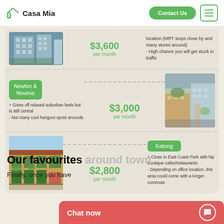Casa Mia | Contact Us
[Figure (photo): Partial listing row showing high-rise building photo, price $3,600 per month, and text about location with MRT stops close by and stores around, high chance of traffic]
[Figure (photo): Newton & Novena listing with street photo. Gives off relaxed suburban feels but is still central. Not many cool hangout spots arounds. $3,000 per month.]
[Figure (photo): Katong listing with shophouse photo. Close to East Coast Park with hip boutique cafes/restaurants. Depending on office location, this area could come with a longer commute. $2,800 per month.]
Our favourites around town
Finally, once you have
Chat now